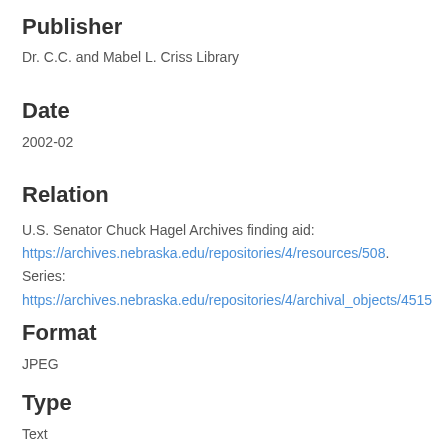Publisher
Dr. C.C. and Mabel L. Criss Library
Date
2002-02
Relation
U.S. Senator Chuck Hagel Archives finding aid: https://archives.nebraska.edu/repositories/4/resources/508. Series: https://archives.nebraska.edu/repositories/4/archival_objects/4515
Format
JPEG
Type
Text
Identifier
CTHpress_sept2001_001 CTHpress_sept2001_002